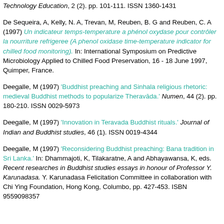Technology Education, 2 (2). pp. 101-111. ISSN 1360-1431
De Sequeira, A, Kelly, N. A, Trevan, M, Reuben, B. G and Reuben, C. A (1997) Un indicateur temps-temperature a phénol oxydase pour contrôler la nourriture refrigeree (A phenol oxidase time-temperature indicator for chilled food monitoring). In: International Symposium on Predictive Microbiology Applied to Chilled Food Preservation, 16 - 18 June 1997, Quimper, France.
Deegalle, M (1997) 'Buddhist preaching and Sinhala religious rhetoric: medieval Buddhist methods to popularize Theravāda.' Numen, 44 (2). pp. 180-210. ISSN 0029-5973
Deegalle, M (1997) 'Innovation in Teravada Buddhist rituals.' Journal of Indian and Buddhist studies, 46 (1). ISSN 0019-4344
Deegalle, M (1997) 'Reconsidering Buddhist preaching: Bana tradition in Sri Lanka.' In: Dhammajoti, K, Tilakaratne, A and Abhayawansa, K, eds. Recent researches in Buddhist studies essays in honour of Professor Y. Karunadasa. Y. Karunadasa Felicitation Committee in collaboration with Chi Ying Foundation, Hong Kong, Columbo, pp. 427-453. ISBN 9559098357